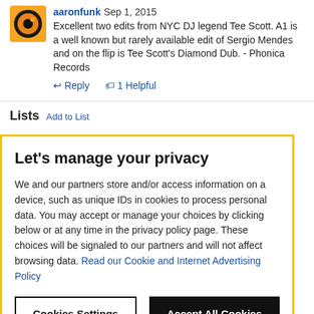aaronfunk Sep 1, 2015
Excellent two edits from NYC DJ legend Tee Scott. A1 is a well known but rarely available edit of Sergio Mendes and on the flip is Tee Scott's Diamond Dub. - Phonica Records
↩ Reply   🏷 1 Helpful
Lists   Add to List
Let's manage your privacy
We and our partners store and/or access information on a device, such as unique IDs in cookies to process personal data. You may accept or manage your choices by clicking below or at any time in the privacy policy page. These choices will be signaled to our partners and will not affect browsing data. Read our Cookie and Internet Advertising Policy
Cookies Settings   Accept All Cookies